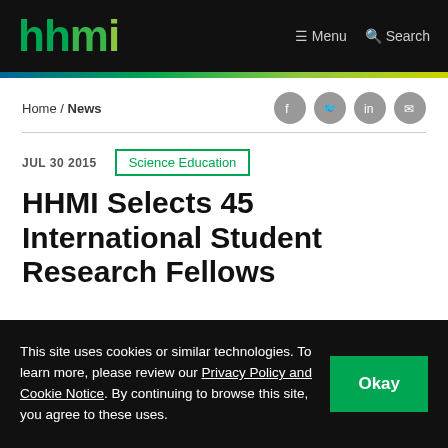hhmi | Menu | Search
Home / News
JUL 30 2015  Science Education
HHMI Selects 45 International Student Research Fellows
This site uses cookies or similar technologies. To learn more, please review our Privacy Policy and Cookie Notice. By continuing to browse this site, you agree to these uses.